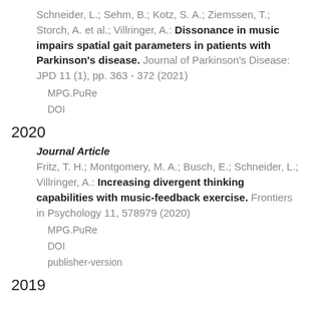Schneider, L.; Sehm, B.; Kotz, S. A.; Ziemssen, T.; Storch, A. et al.; Villringer, A.: Dissonance in music impairs spatial gait parameters in patients with Parkinson's disease. Journal of Parkinson's Disease: JPD 11 (1), pp. 363 - 372 (2021)
MPG.PuRe
DOI
2020
Journal Article
Fritz, T. H.; Montgomery, M. A.; Busch, E.; Schneider, L.; Villringer, A.: Increasing divergent thinking capabilities with music-feedback exercise. Frontiers in Psychology 11, 578979 (2020)
MPG.PuRe
DOI
publisher-version
2019